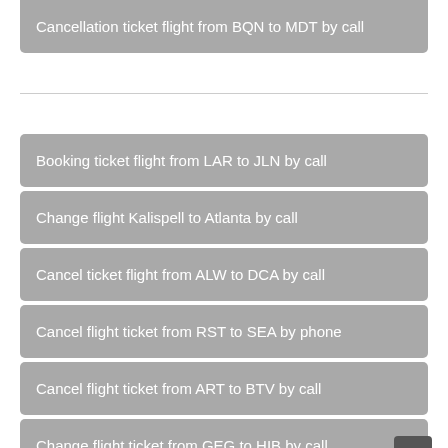Cancellation ticket flight from BQN to MDT by call
Booking ticket flight from LAR to JLN by call
Change flight Kalispell to Atlanta by call
Cancel ticket flight from ALW to DCA by call
Cancel flight ticket from RST to SEA by phone
Cancel flight ticket from ART to BTV by call
Change flight ticket from GEG to HIB by call